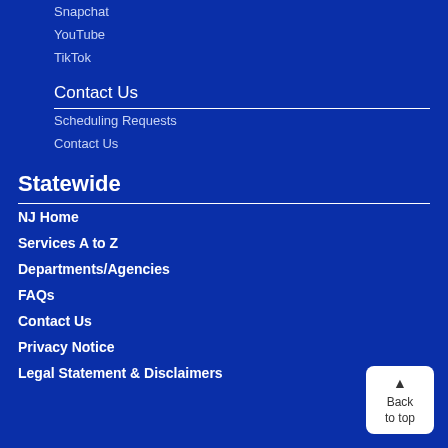Snapchat
YouTube
TikTok
Contact Us
Scheduling Requests
Contact Us
Statewide
NJ Home
Services A to Z
Departments/Agencies
FAQs
Contact Us
Privacy Notice
Legal Statement & Disclaimers